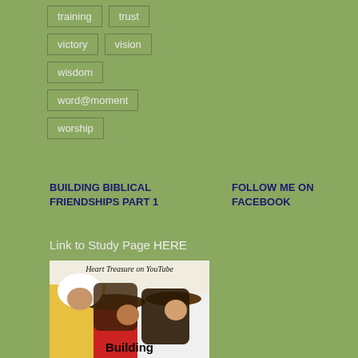training
trust
victory
vision
wisdom
word@moment
worship
BUILDING BIBLICAL FRIENDSHIPS PART 1
FOLLOW ME ON FACEBOOK
Link to Study Page HERE
[Figure (photo): Photo of three young women laughing together wearing hats, with text 'Heart Treasure on YouTube' at top and 'Building' at the bottom, promotional image for a YouTube study.]